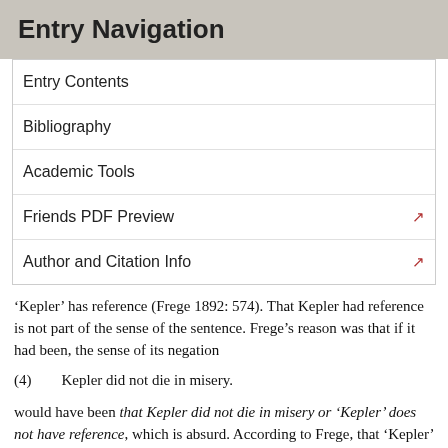Entry Navigation
Entry Contents
Bibliography
Academic Tools
Friends PDF Preview
Author and Citation Info
‘Kepler’ has reference (Frege 1892: 574). That Kepler had reference is not part of the sense of the sentence. Frege’s reason was that if it had been, the sense of its negation
(4) Kepler did not die in misery.
would have been that Kepler did not die in misery or ‘Kepler’ does not have reference, which is absurd. According to Frege, that ‘Kepler’ has reference is rather presupposed, both in an assertion of (3) and in an assertion of its negation.